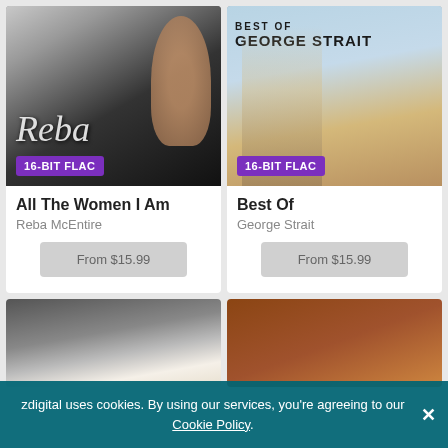[Figure (photo): Album cover for 'All The Women I Am' by Reba McEntire - woman with red hair on silver/dark background with script text 'Reba' and '16-BIT FLAC' badge]
All The Women I Am
Reba McEntire
From $15.99
[Figure (photo): Album cover for 'Best Of George Strait' - man in cowboy hat and white shirt standing outdoors with sky background, text 'BEST OF GEORGE STRAIT' and '16-BIT FLAC' badge]
Best Of
George Strait
From $15.99
[Figure (photo): Partial album cover showing person with white cowboy hat]
[Figure (photo): Partial album cover with brown/warm tones showing a figure]
zdigital uses cookies. By using our services, you're agreeing to our Cookie Policy.